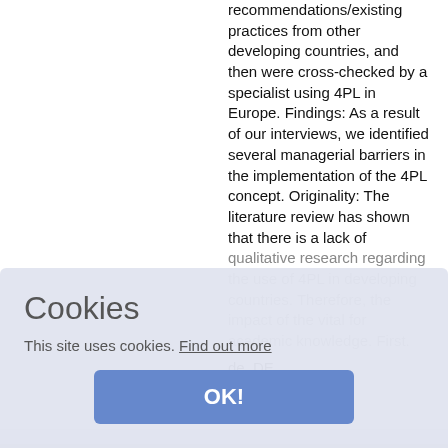recommendations/existing practices from other developing countries, and then were cross-checked by a specialist using 4PL in Europe. Findings: As a result of our interviews, we identified several managerial barriers in the implementation of the 4PL concept. Originality: The literature review has shown that there is a lack of qualitative research regarding the use of 4PL in developing countries. Therefore, the impact of the vital for academic knowledge. First. de_DE
Cookies
This site uses cookies. Find out more
OK!